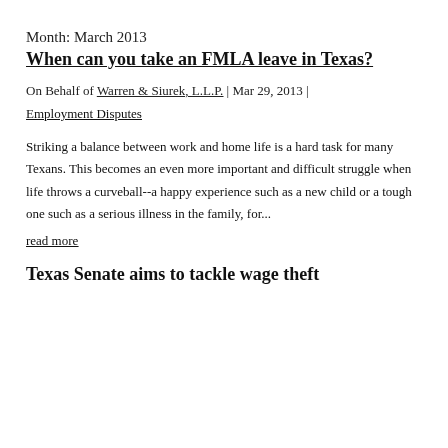Month: March 2013
When can you take an FMLA leave in Texas?
On Behalf of Warren & Siurek, L.L.P. | Mar 29, 2013 |
Employment Disputes
Striking a balance between work and home life is a hard task for many Texans. This becomes an even more important and difficult struggle when life throws a curveball--a happy experience such as a new child or a tough one such as a serious illness in the family, for...
read more
Texas Senate aims to tackle wage theft